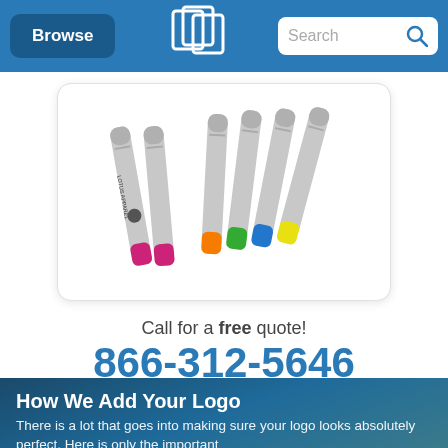Browse | [Logo] | Search
[Figure (photo): Seven colorful pens/markers arranged diagonally: two on the left with pink/magenta tips (one branded 'LOTUS APPAREL'), and five on the right with orange, green, blue, and yellow tips, all with silver bodies, displayed on a white card background.]
Call for a free quote!
866-312-5646
How We Add Your Logo
There is a lot that goes into making sure your logo looks absolutely perfect. Here is only the important